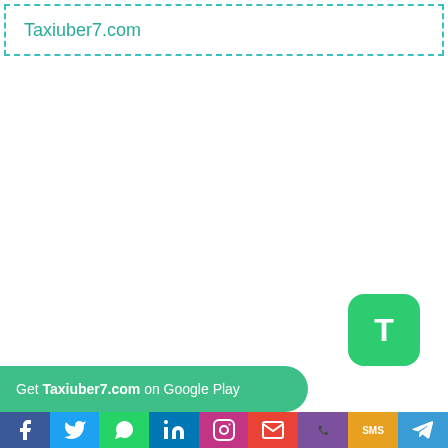Taxiuber7.com
[Figure (screenshot): Green rounded rectangle button with white letter T on lower right side of page]
Get Taxiuber7.com on Google Play
Social share icons: Facebook, WhatsApp, LinkedIn, Instagram, Email, Viber, SMS, Telegram